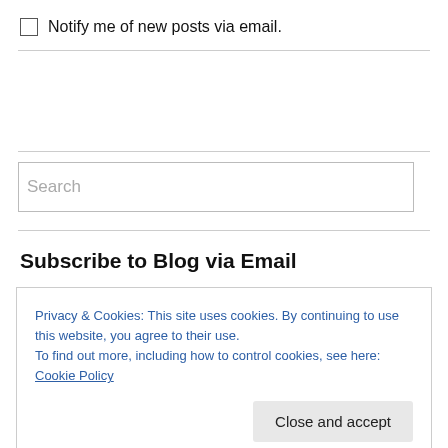Notify me of new posts via email.
Search
Subscribe to Blog via Email
Privacy & Cookies: This site uses cookies. By continuing to use this website, you agree to their use.
To find out more, including how to control cookies, see here: Cookie Policy
Close and accept